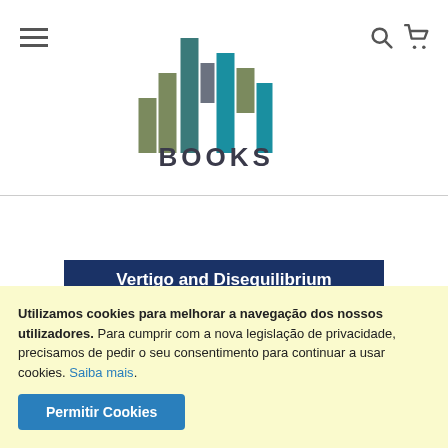[Figure (logo): MAP Books logo with colorful bar chart-like graphic spelling MAP, and BOOKS text below]
Vertigo and Disequilibrium
Utilizamos cookies para melhorar a navegação dos nossos utilizadores. Para cumprir com a nova legislação de privacidade, precisamos de pedir o seu consentimento para continuar a usar cookies. Saiba mais.
Permitir Cookies